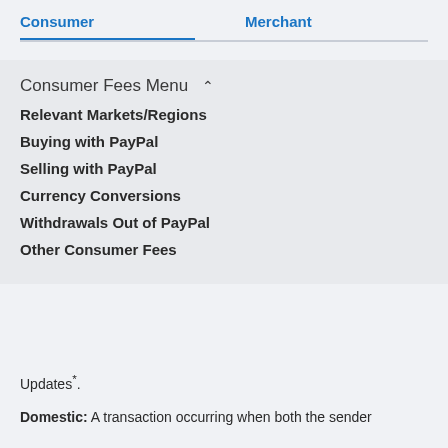Consumer    Merchant
Consumer Fees Menu
Relevant Markets/Regions
Buying with PayPal
Selling with PayPal
Currency Conversions
Withdrawals Out of PayPal
Other Consumer Fees
Updates*.
Domestic: A transaction occurring when both the sender and...